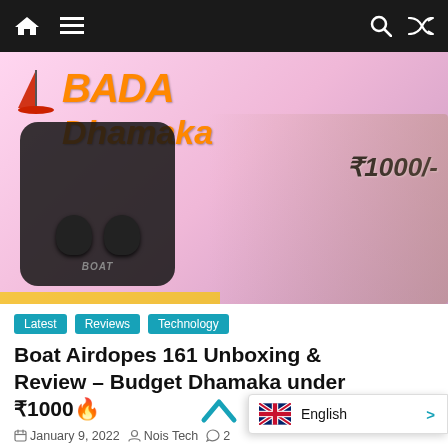Navigation bar with home icon, hamburger menu, search icon, shuffle icon
[Figure (photo): YouTube thumbnail showing boAt Airdopes 161 true wireless earbuds in a charging case held by a person smiling. Text overlay reads 'BADA Dhamaka' in orange italic font with a red sailboat logo, and '₹1000/-' price tag in black bold italic. Pink/purple gradient background.]
Latest  Reviews  Technology
Boat Airdopes 161 Unboxing & Review – Budget Dhamaka under ₹1000 🔥
January 9, 2022  Nois Tech  2
airdopes, airdopes, airdopes 161, best